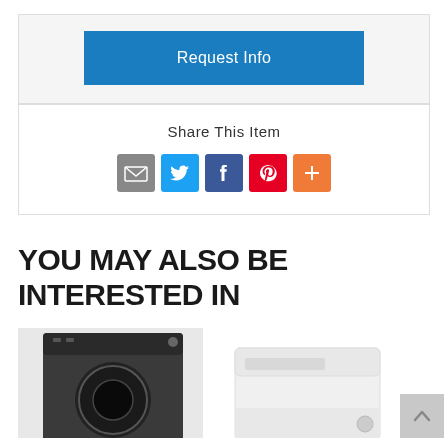[Figure (other): Request Info blue button]
Share This Item
[Figure (other): Social share icons: email (gray), Twitter (blue), Facebook (blue), Pinterest (red), More (orange)]
YOU MAY ALSO BE INTERESTED IN
[Figure (photo): Front-loading dark gray washing machine product image (partial, cut off at bottom)]
[Figure (photo): White top-loading washing machine product image (partial, cut off at bottom)]